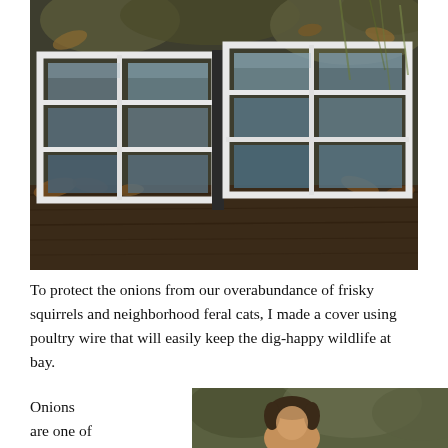[Figure (photo): Outdoor photograph of an old white-framed cold frame / window sash lying flat on a wooden planter box, with glass panes reflecting trees and sky. Fallen leaves and dry grass visible in background.]
To protect the onions from our overabundance of frisky squirrels and neighborhood feral cats, I made a cover using poultry wire that will easily keep the dig-happy wildlife at bay.
Onions are one of
[Figure (photo): Partial photo of a person outdoors, visible from approximately chin level, with trees and foliage in the background.]